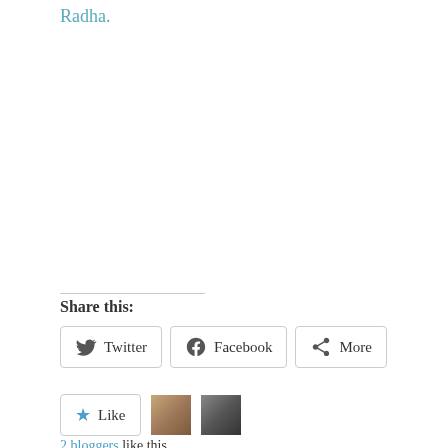Radha.
Share this:
Twitter  Facebook  More
Like
2 bloggers like this.